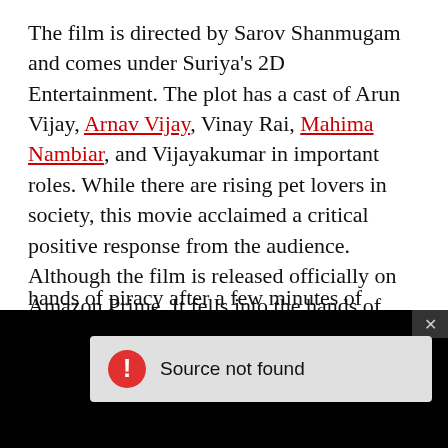The film is directed by Sarov Shanmugam and comes under Suriya's 2D Entertainment. The plot has a cast of Arun Vijay, Arnav Vijay, Vinay Rai, Mahima Nambiar, and Vijayakumar in important roles. While there are rising pet lovers in society, this movie acclaimed a critical positive response from the audience. Although the film is released officially on Amazon Prime. It fells into the hands of piracy after a few minutes of online premiering
[Figure (screenshot): A black video player area with a 'Source not found' error dialog showing a red exclamation icon and gray background message box, and an X close button in the top right of the overlay.]